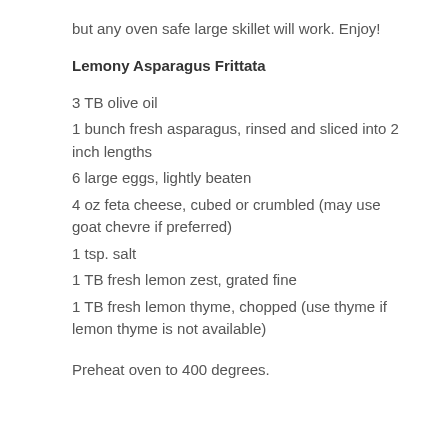but any oven safe large skillet will work.   Enjoy!
Lemony Asparagus Frittata
3 TB olive oil
1 bunch fresh asparagus, rinsed and sliced into 2 inch lengths
6 large eggs, lightly beaten
4 oz  feta cheese, cubed or crumbled (may use goat chevre if preferred)
1 tsp. salt
1 TB fresh lemon zest, grated fine
1 TB fresh lemon thyme, chopped (use thyme if lemon thyme is not available)
Preheat oven to 400 degrees.